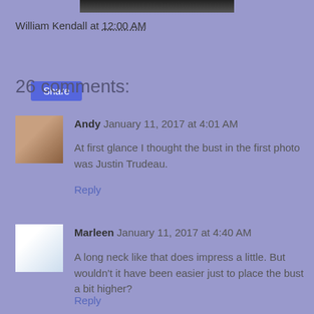[Figure (photo): Partial dark image at top of page]
William Kendall at 12:00 AM
Share
26 comments:
Andy January 11, 2017 at 4:01 AM
At first glance I thought the bust in the first photo was Justin Trudeau.
Reply
Marleen January 11, 2017 at 4:40 AM
A long neck like that does impress a little. But wouldn't it have been easier just to place the bust a bit higher?
Reply